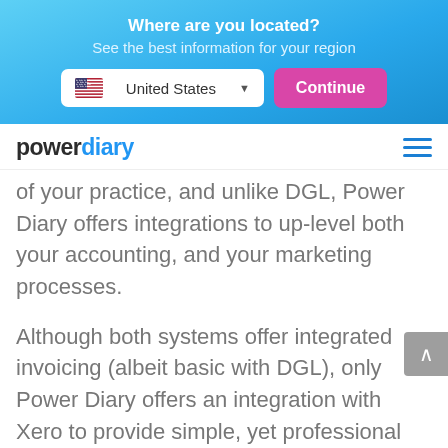Where are you located?
See the best information for your region
[Figure (screenshot): Location selector with United States dropdown and Continue button]
[Figure (logo): Power Diary logo with hamburger menu icon]
of your practice, and unlike DGL, Power Diary offers integrations to up-level both your accounting, and your marketing processes.
Although both systems offer integrated invoicing (albeit basic with DGL), only Power Diary offers an integration with Xero to provide simple, yet professional invoicing. Team this up with our Stripe integration and your clients can conveniently settle their